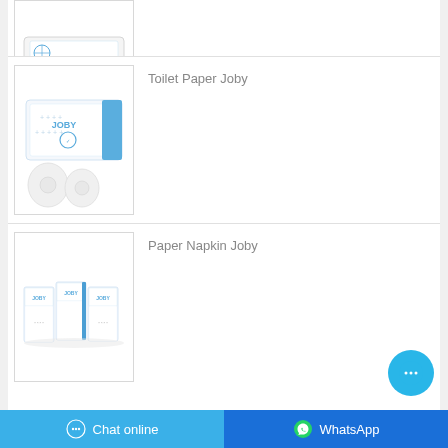[Figure (photo): Partial view of a Joby paper product box at the top of the page (cropped)]
Toilet Paper Joby
[Figure (photo): Toilet Paper Joby product - a white flat box with blue accents and two toilet paper rolls in front]
Paper Napkin Joby
[Figure (photo): Paper Napkin Joby product - a row of white napkin packs with blue branding]
Chat online
WhatsApp